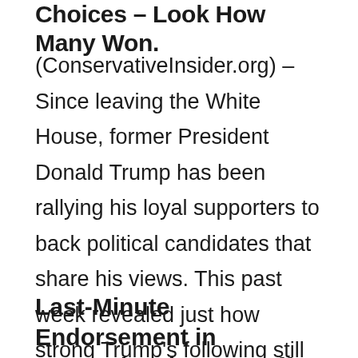Choices – Look How Many Won.
(ConservativeInsider.org) – Since leaving the White House, former President Donald Trump has been rallying his loyal supporters to back political candidates that share his views. This past week revealed just how strong Trump's following still is. From Pennsylvania to Idaho, Trump-endorsed candidates won many primaries, although there were some key losses as well.
Last-Minute Endorsement in Pennsylvania Pays Off